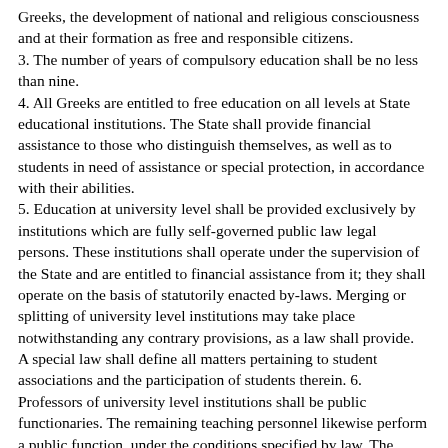Greeks, the development of national and religious consciousness and at their formation as free and responsible citizens.
3. The number of years of compulsory education shall be no less than nine.
4. All Greeks are entitled to free education on all levels at State educational institutions. The State shall provide financial assistance to those who distinguish themselves, as well as to students in need of assistance or special protection, in accordance with their abilities.
5. Education at university level shall be provided exclusively by institutions which are fully self-governed public law legal persons. These institutions shall operate under the supervision of the State and are entitled to financial assistance from it; they shall operate on the basis of statutorily enacted by-laws. Merging or splitting of university level institutions may take place notwithstanding any contrary provisions, as a law shall provide.
A special law shall define all matters pertaining to student associations and the participation of students therein. 6. Professors of university level institutions shall be public functionaries. The remaining teaching personnel likewise perform a public function, under the conditions specified by law. The statutes of respective institutions shall define matters relating to the status of all the above.
Professors of university level institutions shall not be dismissed prior to the lawful termination of their term of service, except in